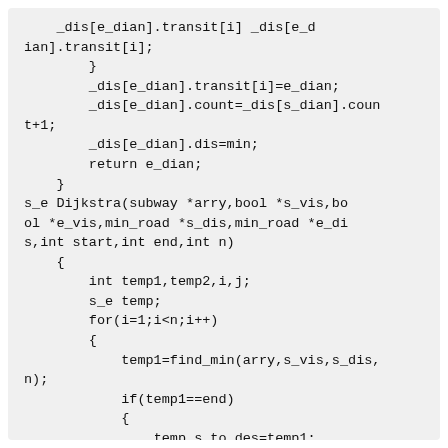_dis[e_dian].transit[i] _dis[e_dian].transit[i];
        }
        _dis[e_dian].transit[i]=e_dian;
        _dis[e_dian].count=_dis[s_dian].count+1;
        _dis[e_dian].dis=min;
        return e_dian;
    }
s_e Dijkstra(subway *arry,bool *s_vis,bool *e_vis,min_road *s_dis,min_road *e_dis,int start,int end,int n)
    {
        int temp1,temp2,i,j;
        s_e temp;
        for(i=1;i<n;i++)
        {
            temp1=find_min(arry,s_vis,s_dis,n);
            if(temp1==end)
            {
                temp.s_to_des=temp1;